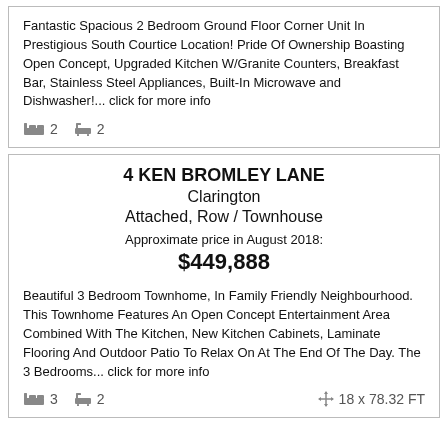Fantastic Spacious 2 Bedroom Ground Floor Corner Unit In Prestigious South Courtice Location! Pride Of Ownership Boasting Open Concept, Upgraded Kitchen W/Granite Counters, Breakfast Bar, Stainless Steel Appliances, Built-In Microwave and Dishwasher!... click for more info
bed 2  bath 2
4 KEN BROMLEY LANE
Clarington
Attached, Row / Townhouse
Approximate price in August 2018:
$449,888
Beautiful 3 Bedroom Townhome, In Family Friendly Neighbourhood. This Townhome Features An Open Concept Entertainment Area Combined With The Kitchen, New Kitchen Cabinets, Laminate Flooring And Outdoor Patio To Relax On At The End Of The Day. The 3 Bedrooms... click for more info
bed 3  bath 2  18 x 78.32 FT